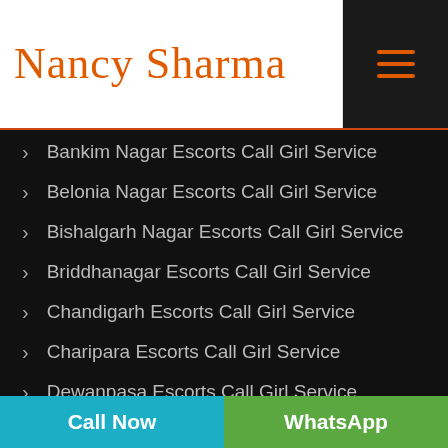[Figure (logo): Nancy Sharma script logo in orange on white background with orange border lines]
Bankim Nagar Escorts Call Girl Service
Belonia Nagar Escorts Call Girl Service
Bishalgarh Nagar Escorts Call Girl Service
Briddhanagar Escorts Call Girl Service
Chandigarh Escorts Call Girl Service
Charipara Escorts Call Girl Service
Dewanpasa Escorts Call Girl Service
Dharmanagar Nagar Escorts Call Girl Service
Call Now   WhatsApp